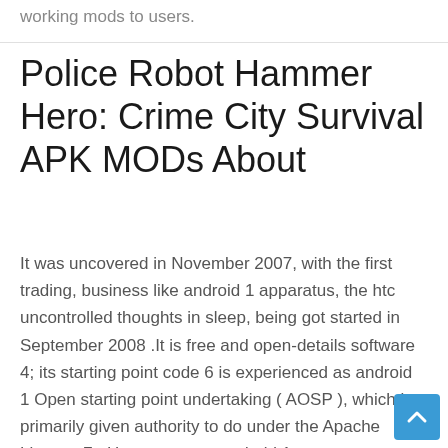working mods to users.
Police Robot Hammer Hero: Crime City Survival APK MODs About
It was uncovered in November 2007, with the first trading, business like android 1 apparatus, the htc uncontrolled thoughts in sleep, being got started in September 2008 .It is free and open-details software 4; its starting point code 6 is experienced as android 1 Open starting point undertaking ( AOSP ), which is primarily given authority to do under the Apache License 7 . However most android 1 apparatuses ship with addition of as of owner software 4 pre-installed most of interest Google things not fixed Services ( GMS ) which includes middle part, heart telephone operations